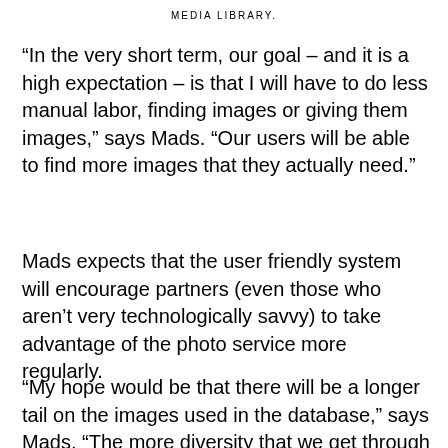MEDIA LIBRARY.
“In the very short term, our goal – and it is a high expectation – is that I will have to do less manual labor, finding images or giving them images,” says Mads. “Our users will be able to find more images that they actually need.”
Mads expects that the user friendly system will encourage partners (even those who aren’t very technologically savvy) to take advantage of the photo service more regularly.
“My hope would be that there will be a longer tail on the images used in the database,” says Mads. “The more diversity that we get through the